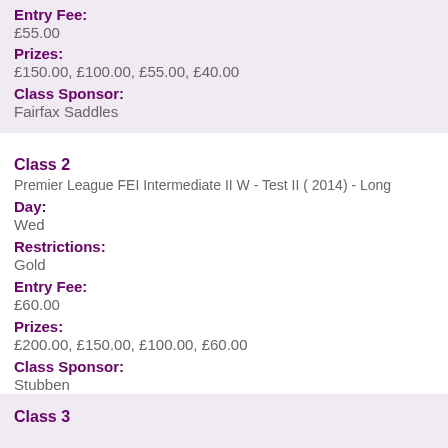Entry Fee:
£55.00
Prizes:
£150.00, £100.00, £55.00, £40.00
Class Sponsor:
Fairfax Saddles
Class 2
Premier League FEI Intermediate II W - Test II ( 2014) - Long
Day:
Wed
Restrictions:
Gold
Entry Fee:
£60.00
Prizes:
£200.00, £150.00, £100.00, £60.00
Class Sponsor:
Stubben
Class 3